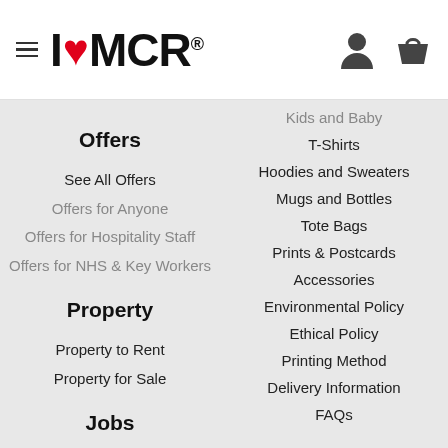[Figure (logo): I Love MCR logo with hamburger menu icon, user icon and basket icon in header]
Offers
See All Offers
Offers for Anyone
Offers for Hospitality Staff
Offers for NHS & Key Workers
Kids and Baby
T-Shirts
Hoodies and Sweaters
Mugs and Bottles
Tote Bags
Prints & Postcards
Accessories
Environmental Policy
Ethical Policy
Printing Method
Delivery Information
FAQs
Property
Property to Rent
Property for Sale
Jobs
See All Jobs
Post a Listing